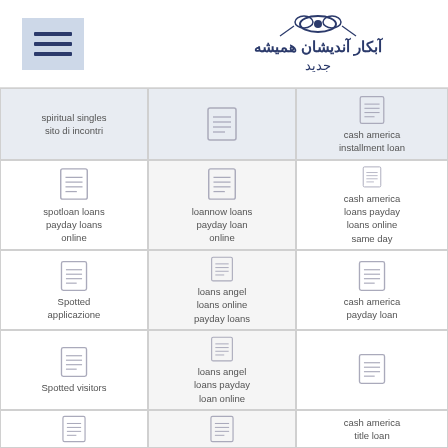[Figure (logo): Persian/Arabic text logo with decorative emblem in dark navy blue]
| Col1 | Col2 | Col3 |
| --- | --- | --- |
| spiritual singles sito di incontri | [icon] | cash america installment loan |
| spotloan loans payday loans online | loannow loans payday loan online | cash america loans payday loans online same day |
| Spotted applicazione | loans angel loans online payday loans | cash america payday loan |
| Spotted visitors | loans angel loans payday loan online | cash america title loan |
| [icon] | [icon] | [icon] |